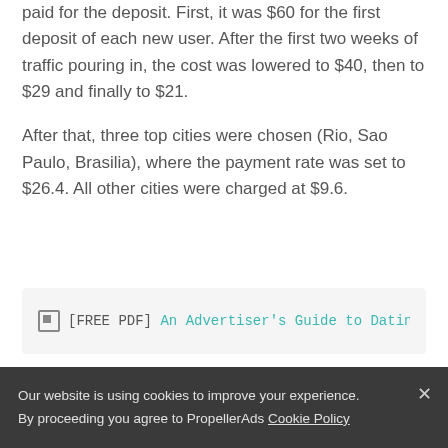paid for the deposit. First, it was $60 for the first deposit of each new user. After the first two weeks of traffic pouring in, the cost was lowered to $40, then to $29 and finally to $21.
After that, three top cities were chosen (Rio, Sao Paulo, Brasilia), where the payment rate was set to $26.4. All other cities were charged at $9.6.
[FREE PDF] An Advertiser's Guide to Dating
Our website is using cookies to improve your experience. By proceeding you agree to PropellerAds Cookie Policy